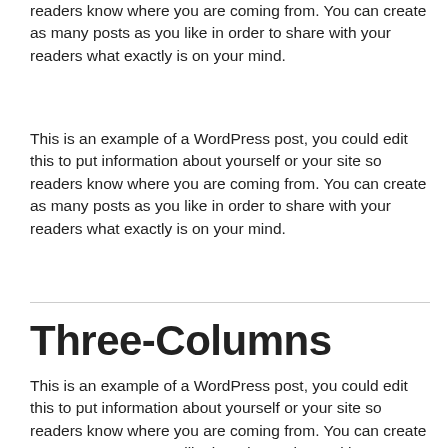readers know where you are coming from. You can create as many posts as you like in order to share with your readers what exactly is on your mind.
This is an example of a WordPress post, you could edit this to put information about yourself or your site so readers know where you are coming from. You can create as many posts as you like in order to share with your readers what exactly is on your mind.
Three-Columns
This is an example of a WordPress post, you could edit this to put information about yourself or your site so readers know where you are coming from. You can create as many posts as you like in order to share with